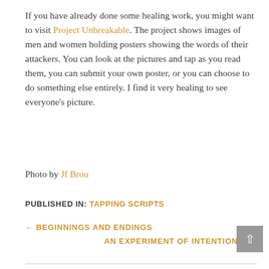If you have already done some healing work, you might want to visit Project Unbreakable. The project shows images of men and women holding posters showing the words of their attackers.  You can look at the pictures and tap as you read them, you can submit your own poster, or you can choose to do something else entirely.  I find it very healing to see everyone's picture.
Photo by Jf Brou
PUBLISHED IN: TAPPING SCRIPTS
← BEGINNINGS AND ENDINGS
AN EXPERIMENT OF INTENTION